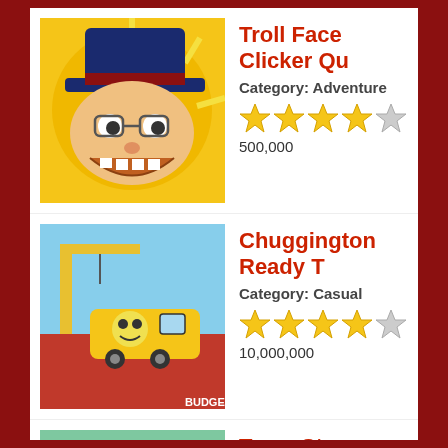Troll Face Clicker Qu
Category: Adventure
★★★★☆
500,000
Chuggington Ready T
Category: Casual
★★★★☆
10,000,000
Town Story  Match 3 M
Category: Casual
★★★★★
1,000,000
Wedding Salon: Girls
Category: Casual
★★★★☆
500,000
Forest Home
Category: Puzzle
★★★★☆